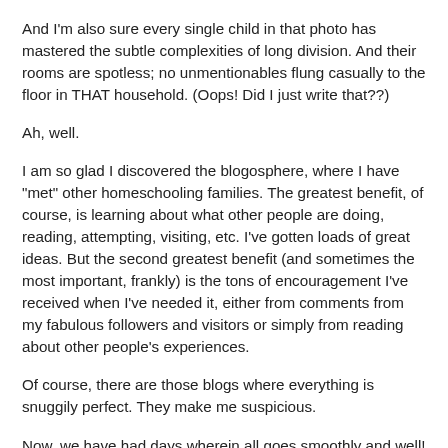And I'm also sure every single child in that photo has mastered the subtle complexities of long division.  And their rooms are spotless; no unmentionables flung casually to the floor in THAT household.  (Oops!  Did I just write that??)
Ah, well.
I am so glad I discovered the blogosphere, where I have "met" other homeschooling families.  The greatest benefit, of course, is learning about what other people are doing, reading, attempting, visiting, etc.  I've gotten loads of great ideas.  But the second greatest benefit (and sometimes the most important, frankly) is the tons of encouragement I've received when I've needed it, either from comments from my fabulous followers and visitors or simply from reading about other people's experiences.
Of course, there are those blogs where everything is snuggily perfect.  They make me suspicious.
Now, we have had days wherein all goes smoothly and well!